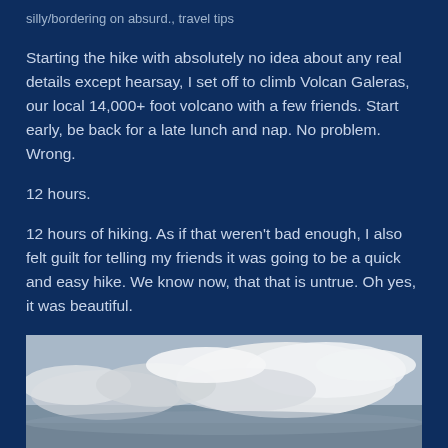silly/bordering on absurd., travel tips
Starting the hike with absolutely no idea about any real details except hearsay, I set off to climb Volcan Galeras, our local 14,000+ foot volcano with a few friends. Start early, be back for a late lunch and nap. No problem. Wrong.
12 hours.
12 hours of hiking. As if that weren't bad enough, I also felt guilt for telling my friends it was going to be a quick and easy hike. We know now, that that is untrue. Oh yes, it was beautiful.
[Figure (photo): Cloudy sky photograph, grey and white clouds over a landscape, taken from high elevation.]